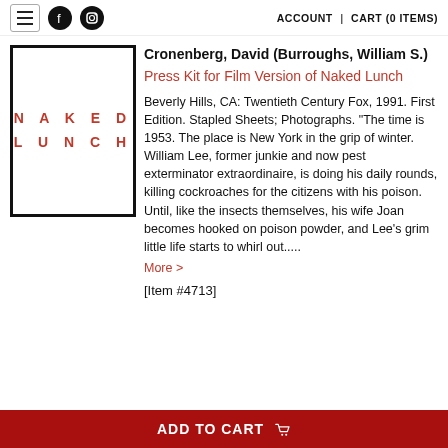ACCOUNT | CART (0 ITEMS)
[Figure (photo): Book cover showing 'NAKED LUNCH' in red spaced letters on white background with black border]
Cronenberg, David (Burroughs, William S.)
Press Kit for Film Version of Naked Lunch
Beverly Hills, CA: Twentieth Century Fox, 1991. First Edition. Stapled Sheets; Photographs. "The time is 1953. The place is New York in the grip of winter. William Lee, former junkie and now pest exterminator extraordinaire, is doing his daily rounds, killing cockroaches for the citizens with his poison. Until, like the insects themselves, his wife Joan becomes hooked on poison powder, and Lee's grim little life starts to whirl out.....
More >
[Item #4713]
ADD TO CART